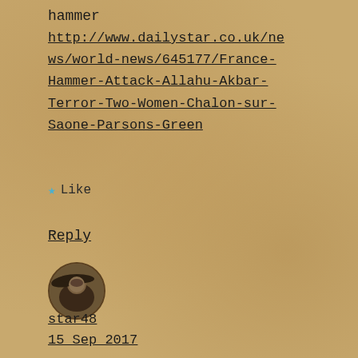hammer
http://www.dailystar.co.uk/news/world-news/645177/France-Hammer-Attack-Allahu-Akbar-Terror-Two-Women-Chalon-sur-Saone-Parsons-Green
★ Like
Reply
[Figure (photo): Circular avatar image of a person wearing a hat, painted/illustrated style, dark tones]
star48
15 Sep 2017